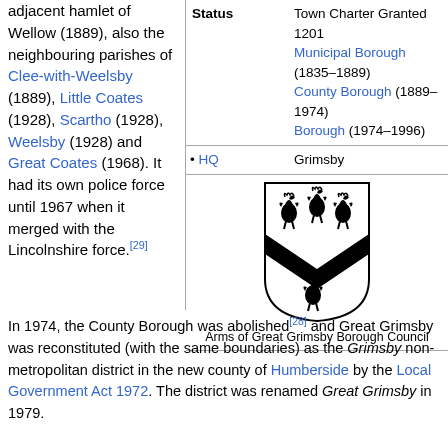adjacent hamlet of Wellow (1889), also the neighbouring parishes of Clee-with-Weelsby (1889), Little Coates (1928), Scartho (1928), Weelsby (1928) and Great Coates (1968). It had its own police force until 1967 when it merged with the Lincolnshire force.[29]
| Status |  |
| --- | --- |
| Status | Town Charter Granted 1201
Municipal Borough (1835–1889)
County Borough (1889–1974)
Borough (1974–1996) |
| • HQ | Grimsby |
| [coat of arms image] | Arms of Great Grimsby Borough Council |
In 1974, the County Borough was abolished[28] and Great Grimsby was reconstituted (with the same boundaries) as the Grimsby non-metropolitan district in the new county of Humberside by the Local Government Act 1972. The district was renamed Great Grimsby in 1979.